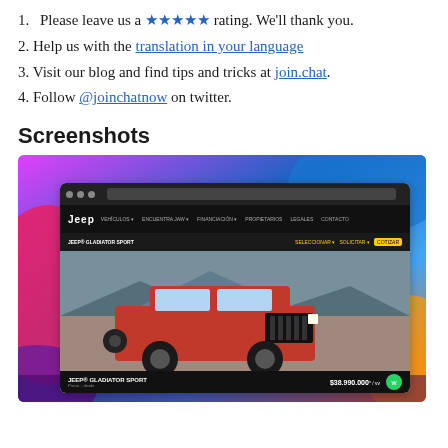1. Please leave us a ★★★★★ rating. We'll thank you.
2. Help us with the translation in your language
3. Visit our blog and find tips and tricks at join.chat.
4. Follow @joinchatnow on twitter.
Screenshots
[Figure (screenshot): Screenshot of a Jeep Gladiator Sport website page showing the red jeep vehicle with price $38,990,000, displayed in a browser window with colorful gradient background]